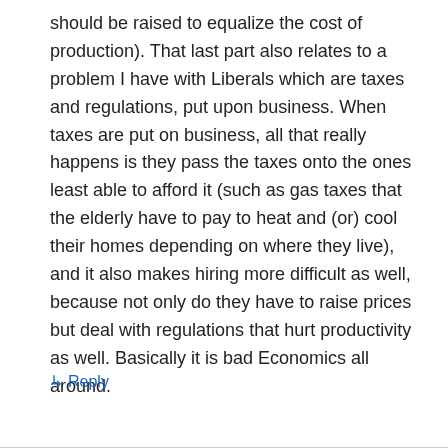should be raised to equalize the cost of production). That last part also relates to a problem I have with Liberals which are taxes and regulations, put upon business. When taxes are put on business, all that really happens is they pass the taxes onto the ones least able to afford it (such as gas taxes that the elderly have to pay to heat and (or) cool their homes depending on where they live), and it also makes hiring more difficult as well, because not only do they have to raise prices but deal with regulations that hurt productivity as well. Basically it is bad Economics all around.
↳ Reply